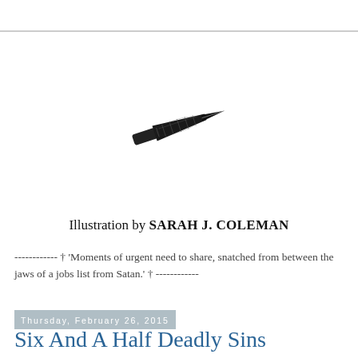[Figure (illustration): A black ink pen nib illustration, detailed engraving style, pointing left, centered in the upper portion of the page.]
Illustration by SARAH J. COLEMAN
------------ † 'Moments of urgent need to share, snatched from between the jaws of a jobs list from Satan.' † ------------
Thursday, February 26, 2015
Six And A Half Deadly Sins